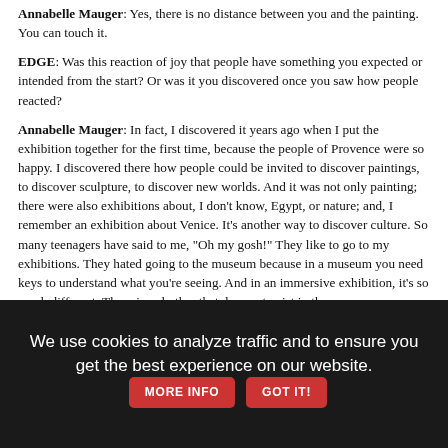Annabelle Mauger: Yes, there is no distance between you and the painting. You can touch it.
EDGE: Was this reaction of joy that people have something you expected or intended from the start? Or was it you discovered once you saw how people reacted?
Annabelle Mauger: In fact, I discovered it years ago when I put the exhibition together for the first time, because the people of Provence were so happy. I discovered there how people could be invited to discover paintings, to discover sculpture, to discover new worlds. And it was not only painting; there were also exhibitions about, I don't know, Egypt, or nature; and, I remember an exhibition about Venice. It's another way to discover culture. So many teenagers have said to me, "Oh my gosh!" They like to go to my exhibitions. They hated going to the museum because in a museum you need keys to understand what you're seeing. And in an immersive exhibition, it's so much different. There is a rhythm that does not exist in the museum.
We use cookies to analyze traffic and to ensure you get the best experience on our website. MORE INFO GOT IT!